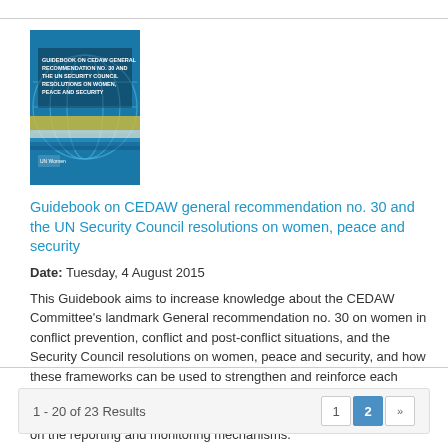[Figure (illustration): Book cover of the Guidebook on CEDAW general recommendation no. 30 and the UN Security Council resolutions on women, peace and security. Blue themed cover with globe/grid pattern and horizontal yellow/white bands.]
Guidebook on CEDAW general recommendation no. 30 and the UN Security Council resolutions on women, peace and security
Date: Tuesday, 4 August 2015
This Guidebook aims to increase knowledge about the CEDAW Committee's landmark General recommendation no. 30 on women in conflict prevention, conflict and post-conflict situations, and the Security Council resolutions on women, peace and security, and how these frameworks can be used to strengthen and reinforce each other. The Guidebook provides information on the content of the General Recommendation and the Security Council resolutions and on the reporting and monitoring mechanisms.
1 - 20 of 23 Results